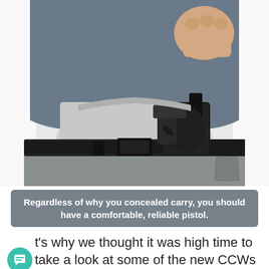[Figure (photo): A person wearing a grey t-shirt and grey pants lifting their shirt to reveal a black pistol in an inside-the-waistband holster on a leather belt, photographed against a white background from the torso down.]
Regardless of why you concealed carry, you should have a comfortable, reliable pistol.
t's why we thought it was high time to take a look at some of the new CCWs on the